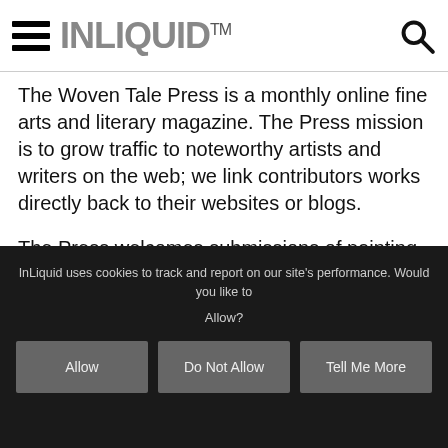INLIQUID™
The Woven Tale Press is a monthly online fine arts and literary magazine. The Press mission is to grow traffic to noteworthy artists and writers on the web; we link contributors works directly back to their websites or blogs.
The Press welcomes submissions of painting, mixed media (including fiber), sculpture, photography, printmaking, and experimental. We pride ourselves on being eclectic.
InLiquid uses cookies to track and report on our site's performance. Would you like to Allow?
Allow
Do Not Allow
Tell Me More